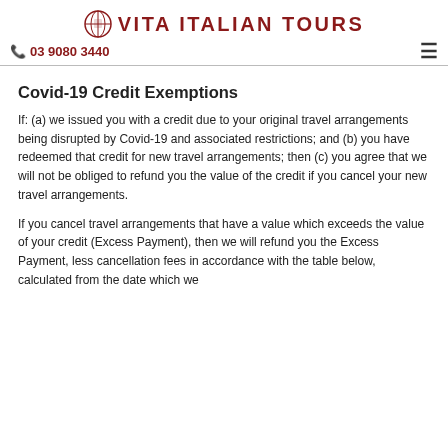VITA ITALIAN TOURS
03 9080 3440
Covid-19 Credit Exemptions
If: (a) we issued you with a credit due to your original travel arrangements being disrupted by Covid-19 and associated restrictions; and (b) you have redeemed that credit for new travel arrangements; then (c) you agree that we will not be obliged to refund you the value of the credit if you cancel your new travel arrangements.
If you cancel travel arrangements that have a value which exceeds the value of your credit (Excess Payment), then we will refund you the Excess Payment, less cancellation fees in accordance with the table below, calculated from the date which we